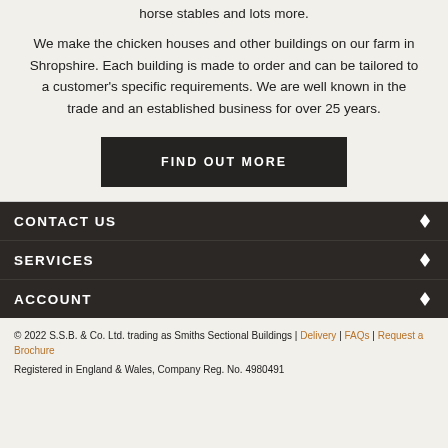horse stables and lots more.
We make the chicken houses and other buildings on our farm in Shropshire. Each building is made to order and can be tailored to a customer's specific requirements. We are well known in the trade and an established business for over 25 years.
FIND OUT MORE
CONTACT US
SERVICES
ACCOUNT
© 2022 S.S.B. & Co. Ltd. trading as Smiths Sectional Buildings | Delivery | FAQs | Request a Brochure
Registered in England & Wales, Company Reg. No. 4980491